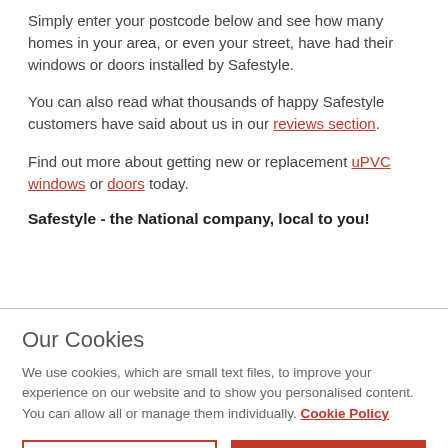Simply enter your postcode below and see how many homes in your area, or even your street, have had their windows or doors installed by Safestyle.
You can also read what thousands of happy Safestyle customers have said about us in our reviews section.
Find out more about getting new or replacement uPVC windows or doors today.
Safestyle - the National company, local to you!
Our Cookies
We use cookies, which are small text files, to improve your experience on our website and to show you personalised content. You can allow all or manage them individually. Cookie Policy